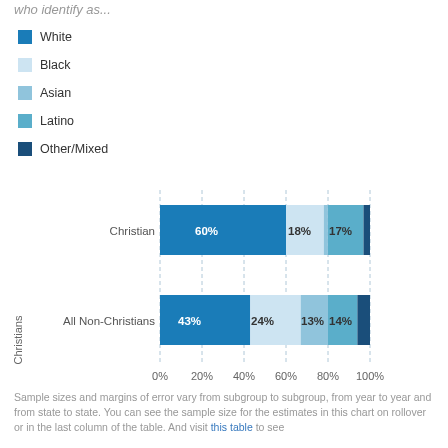who identify as...
White
Black
Asian
Latino
Other/Mixed
[Figure (stacked-bar-chart): ]
Sample sizes and margins of error vary from subgroup to subgroup, from year to year and from state to state. You can see the sample size for the estimates in this chart on rollover or in the last column of the table. And visit this table to see